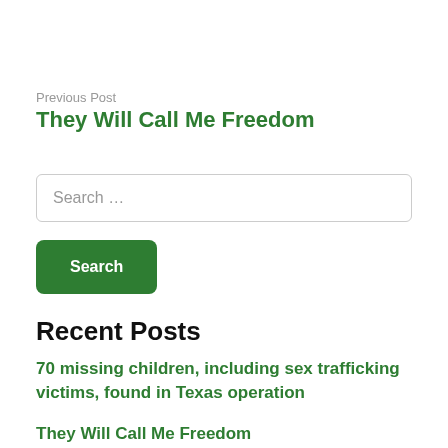Previous Post
They Will Call Me Freedom
Search …
Recent Posts
70 missing children, including sex trafficking victims, found in Texas operation
They Will Call Me Freedom